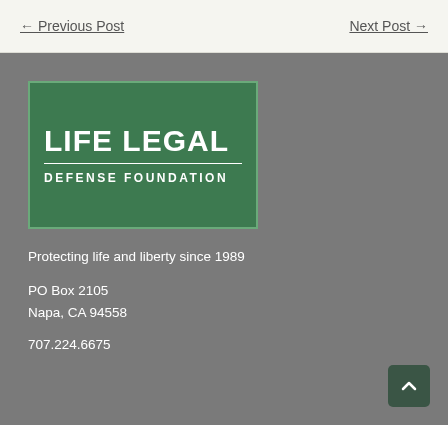← Previous Post    Next Post →
[Figure (logo): Life Legal Defense Foundation logo — green rectangle with white text reading LIFE LEGAL over a horizontal rule and DEFENSE FOUNDATION]
Protecting life and liberty since 1989
PO Box 2105
Napa, CA 94558
707.224.6675